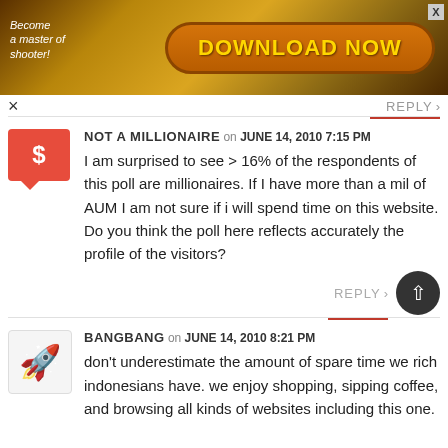[Figure (screenshot): Ad banner with 'Become a master of shooter!' text and 'DOWNLOAD NOW' button on a golden-brown gaming background]
REPLY >
NOT A MILLIONAIRE on JUNE 14, 2010 7:15 PM
I am surprised to see > 16% of the respondents of this poll are millionaires. If I have more than a mil of AUM I am not sure if i will spend time on this website. Do you think the poll here reflects accurately the profile of the visitors?
REPLY >
BANGBANG on JUNE 14, 2010 8:21 PM
don't underestimate the amount of spare time we rich indonesians have. we enjoy shopping, sipping coffee, and browsing all kinds of websites including this one.